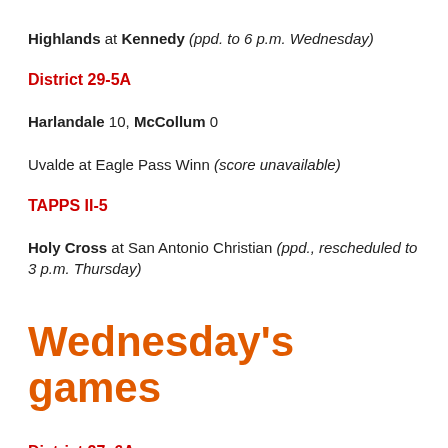Highlands at Kennedy (ppd. to 6 p.m. Wednesday)
District 29-5A
Harlandale 10, McCollum 0
Uvalde at Eagle Pass Winn (score unavailable)
TAPPS II-5
Holy Cross at San Antonio Christian (ppd., rescheduled to 3 p.m. Thursday)
Wednesday's games
District 27–6A
Clemens 5, New Braunfels Canyon 4 (rescheduled from